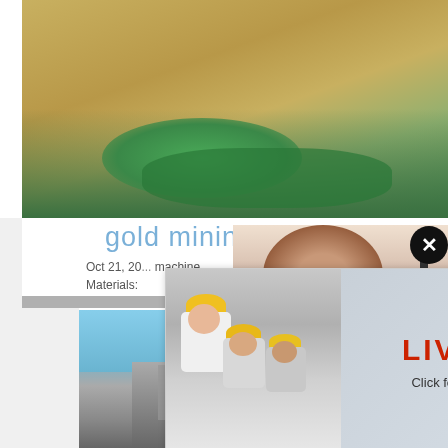[Figure (photo): Aerial view of open-pit mining quarry with green water pool and sandy/rocky terrain]
gold mining machines c
Oct 21, 20... machine.
Materials: Barite Quartz Dolomite.
[Figure (screenshot): Live Chat popup overlay with workers photo, LIVE CHAT heading, Click for a Free Consultation text, Chat now button (red), Chat later button (dark), Chat Online button (blue), and close X button]
[Figure (photo): Customer service woman with headset on right side]
ave any requests, click here.
Quotation
Enquiry
limingjlmofen@sina.com
[Figure (photo): Mining/crushing equipment machinery photo at bottom]